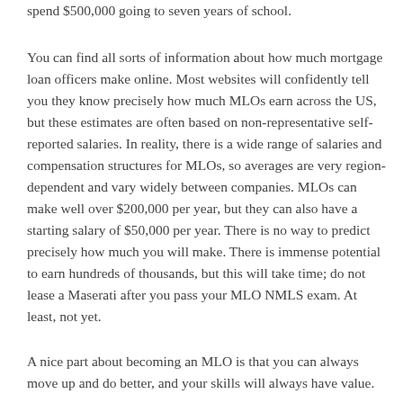spend $500,000 going to seven years of school.
You can find all sorts of information about how much mortgage loan officers make online. Most websites will confidently tell you they know precisely how much MLOs earn across the US, but these estimates are often based on non-representative self-reported salaries. In reality, there is a wide range of salaries and compensation structures for MLOs, so averages are very region-dependent and vary widely between companies. MLOs can make well over $200,000 per year, but they can also have a starting salary of $50,000 per year. There is no way to predict precisely how much you will make. There is immense potential to earn hundreds of thousands, but this will take time; do not lease a Maserati after you pass your MLO NMLS exam. At least, not yet.
A nice part about becoming an MLO is that you can always move up and do better, and your skills will always have value.